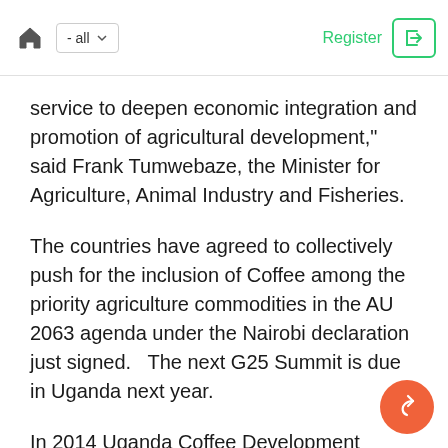Home | - all | Register | Login
service to deepen economic integration and promotion of agricultural development," said Frank Tumwebaze, the Minister for Agriculture, Animal Industry and Fisheries.
The countries have agreed to collectively push for the inclusion of Coffee among the priority agriculture commodities in the AU 2063 agenda under the Nairobi declaration just signed.   The next G25 Summit is due in Uganda next year.
In 2014 Uganda Coffee Development Authority-UCDA started implementing a 10-year strategy involving a replanting campaign to boost output, and in 2017, the National Coffee Roadmap was drawn with the aim of producing 20 million bags per year by 2025.  Production has since more than doubled to more than 8 million ba